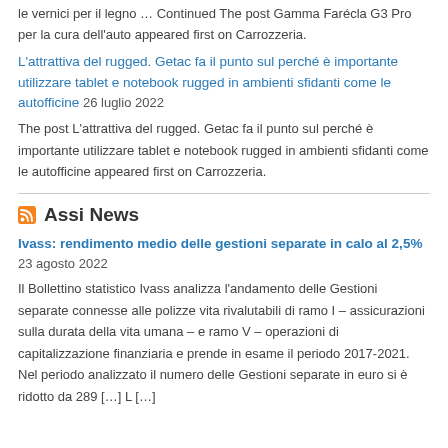le vernici per il legno … Continued The post Gamma Farécla G3 Pro per la cura dell'auto appeared first on Carrozzeria.
L'attrattiva del rugged. Getac fa il punto sul perché è importante utilizzare tablet e notebook rugged in ambienti sfidanti come le autofficine 26 luglio 2022
The post L'attrattiva del rugged. Getac fa il punto sul perché è importante utilizzare tablet e notebook rugged in ambienti sfidanti come le autofficine appeared first on Carrozzeria.
Assi News
Ivass: rendimento medio delle gestioni separate in calo al 2,5% 23 agosto 2022
Il Bollettino statistico Ivass analizza l'andamento delle Gestioni separate connesse alle polizze vita rivalutabili di ramo I – assicurazioni sulla durata della vita umana – e ramo V – operazioni di capitalizzazione finanziaria e prende in esame il periodo 2017-2021. Nel periodo analizzato il numero delle Gestioni separate in euro si è ridotto da 289 […] L […]